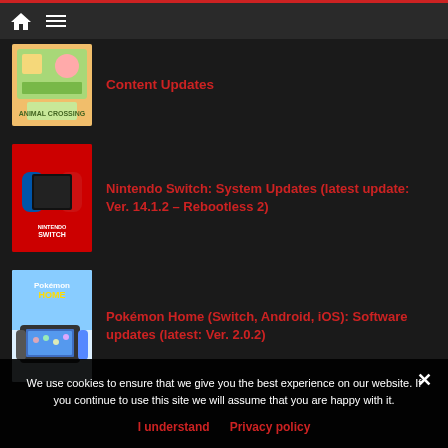Navigation bar with home and menu icons
[Figure (screenshot): Animal Crossing game thumbnail]
Content Updates
[Figure (screenshot): Nintendo Switch red logo thumbnail]
Nintendo Switch: System Updates (latest update: Ver. 14.1.2 – Rebootless 2)
[Figure (screenshot): Pokémon Home app thumbnail with Switch device]
Pokémon Home (Switch, Android, iOS): Software updates (latest: Ver. 2.0.2)
We use cookies to ensure that we give you the best experience on our website. If you continue to use this site we will assume that you are happy with it.
I understand   Privacy policy